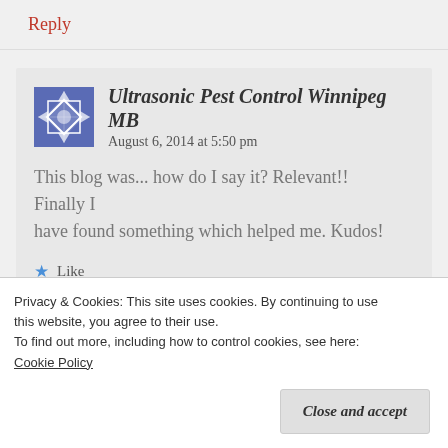Reply
Ultrasonic Pest Control Winnipeg MB   August 6, 2014 at 5:50 pm
This blog was... how do I say it? Relevant!! Finally I have found something which helped me. Kudos!
Like
Privacy & Cookies: This site uses cookies. By continuing to use this website, you agree to their use.
To find out more, including how to control cookies, see here: Cookie Policy
Close and accept